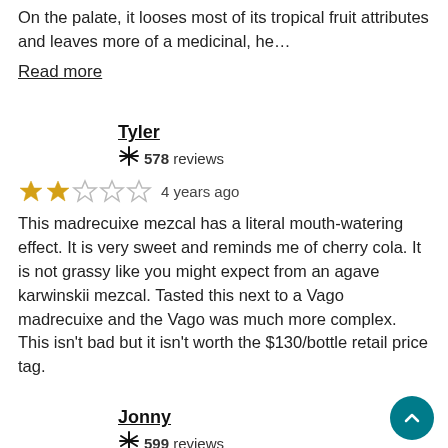On the palate, it looses most of its tropical fruit attributes and leaves more of a medicinal, he…
Read more
Tyler
🌟 578 reviews
★★★☆☆  4 years ago
This madrecuixe mezcal has a literal mouth-watering effect. It is very sweet and reminds me of cherry cola. It is not grassy like you might expect from an agave karwinskii mezcal. Tasted this next to a Vago madrecuixe and the Vago was much more complex. This isn't bad but it isn't worth the $130/bottle retail price tag.
Jonny
🌟 599 reviews
★★★★☆  5 years ago
Floral nose and very milky on the palate. This mezcal is loose and freewheeling. I like it a lot. It's has some forward sweet notes and notes of rose pedals and tangerine. Some umami